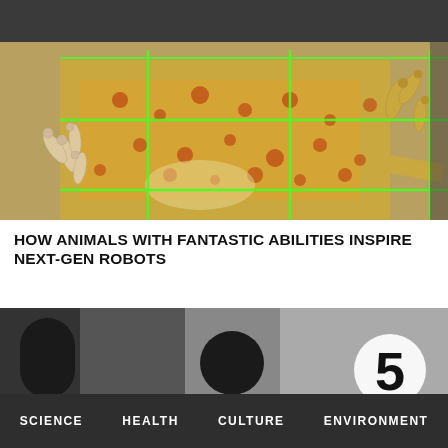[Figure (photo): Close-up photograph of a gecko gripping a green wire mesh/cage. The gecko has orange and brown spotted pattern on yellow-green scales, with splayed toe pads visible. Green wire grid overlays the image. Dark gray banner at top partially obscures the image.]
HOW ANIMALS WITH FANTASTIC ABILITIES INSPIRE NEXT-GEN ROBOTS
[Figure (photo): Black and white photograph of what appears to be gym weights or dumbbells, with a visible number '5' on one of them.]
SCIENCE  HEALTH  CULTURE  ENVIRONMENT